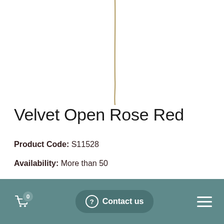[Figure (photo): Partial product photo showing stem/wire of a velvet open rose against white background]
Velvet Open Rose Red
Product Code: S11528
Availability: More than 50
£1.73
0  Contact us  (navigation bar with cart, contact button, and menu)